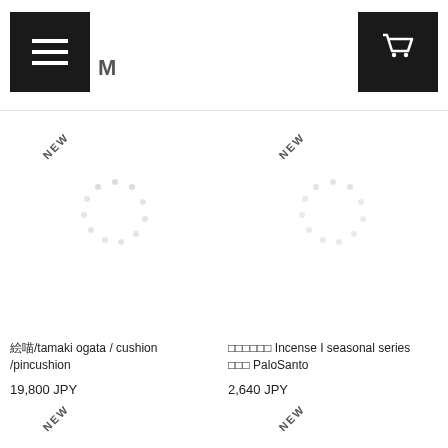[Figure (screenshot): E-commerce website header with hamburger menu button on left and shopping cart button on right, with partial logo text visible]
[Figure (other): Product card with NEW badge and loading spinner placeholder - cushion/pincushion product]
絵/tamaki ogata / cushion /pincushion
19,800 JPY
[Figure (other): Product card with NEW badge and loading spinner placeholder - Incense seasonal series PaloSanto product]
◻◻◻◻◻◻ Incense I seasonal series ◻◻◻ PaloSanto
2,640 JPY
[Figure (other): Product card with NEW badge - bottom left]
[Figure (other): Product card with NEW badge - bottom right]